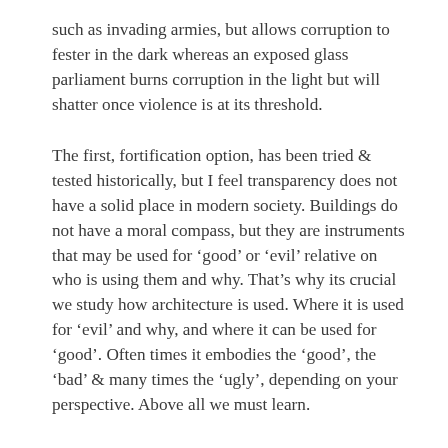such as invading armies, but allows corruption to fester in the dark whereas an exposed glass parliament burns corruption in the light but will shatter once violence is at its threshold.
The first, fortification option, has been tried & tested historically, but I feel transparency does not have a solid place in modern society. Buildings do not have a moral compass, but they are instruments that may be used for 'good' or 'evil' relative on who is using them and why. That's why its crucial we study how architecture is used. Where it is used for 'evil' and why, and where it can be used for 'good'. Often times it embodies the 'good', the 'bad' & many times the 'ugly', depending on your perspective. Above all we must learn.